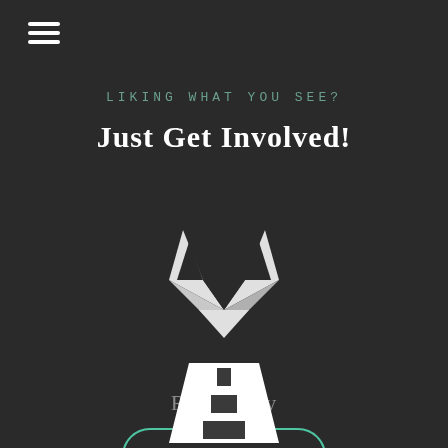[Figure (illustration): Hamburger/menu icon (three horizontal white lines) in top-left corner]
LIKING WHAT YOU SEE?
Just Get Involved!
[Figure (logo): GitLab fox logo — geometric white and dark triangles forming a fox face with ears]
Repository
Fork It
[Figure (illustration): Road/highway icon partially visible at the bottom center of the page]